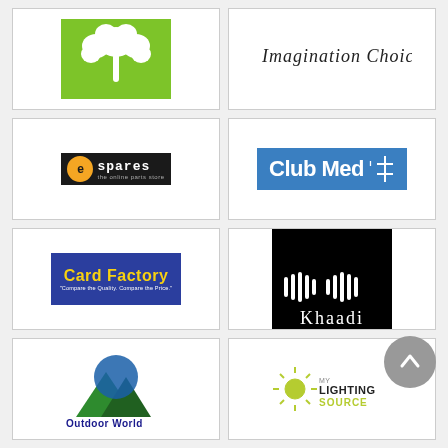[Figure (logo): Green background with white plant/flower silhouette logo]
[Figure (logo): Imagination Choice cursive/script text logo]
[Figure (logo): eSpares - the online parts store logo, dark background with orange circle e]
[Figure (logo): Club Med logo with blue background and white text and trident symbol]
[Figure (logo): Card Factory logo with blue background, yellow text, white subtitle]
[Figure (logo): Khaadi logo with black background, white bar pattern and white serif text]
[Figure (logo): Outdoor World logo with mountain and blue/green colors]
[Figure (logo): My Lighting Source logo with sun/light icon and green/dark text]